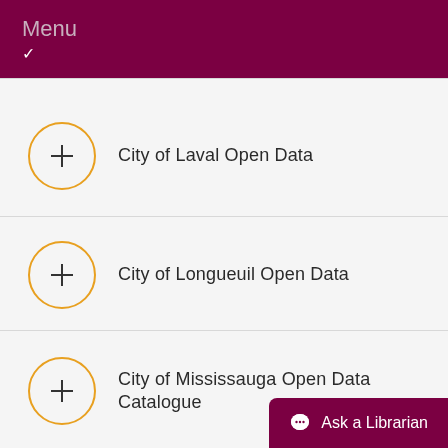Menu
City of Laval Open Data
City of Longueuil Open Data
City of Mississauga Open Data Catalogue
Ask a Librarian